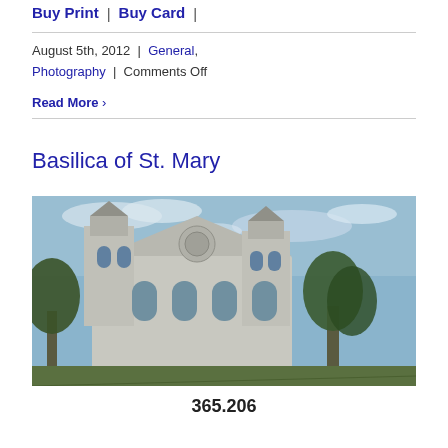Buy Print | Buy Card |
August 5th, 2012 | General, Photography | Comments Off
Read More ›
Basilica of St. Mary
[Figure (photo): Wide-angle photograph of the Basilica of St. Mary, a large ornate stone church with two towers, shot from a low angle against a partly cloudy sky with trees visible.]
365.206